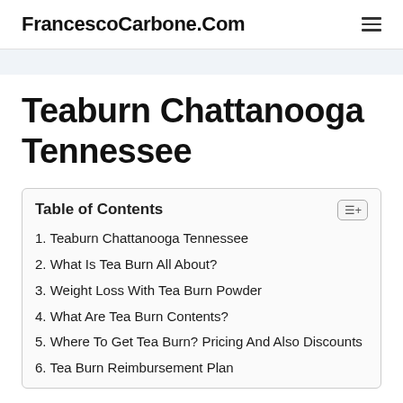FrancescoCarbone.Com
Teaburn Chattanooga Tennessee
| Table of Contents |
| --- |
| 1. Teaburn Chattanooga Tennessee |
| 2. What Is Tea Burn All About? |
| 3. Weight Loss With Tea Burn Powder |
| 4. What Are Tea Burn Contents? |
| 5. Where To Get Tea Burn? Pricing And Also Discounts |
| 6. Tea Burn Reimbursement Plan |